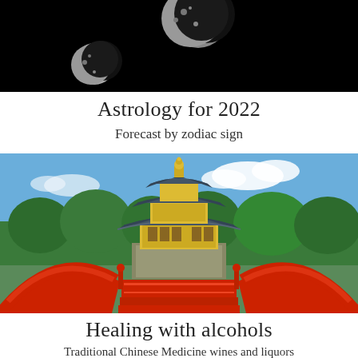[Figure (photo): Black background with two moon phases visible — a larger crescent/gibbous moon at top center-right and a smaller crescent moon at lower left]
Astrology for 2022
Forecast by zodiac sign
[Figure (photo): A golden Chinese pavilion temple with ornate tiered roof, approached by a red arched bridge with steps, surrounded by lush green trees under a blue sky with clouds]
Healing with alcohols
Traditional Chinese Medicine wines and liquors